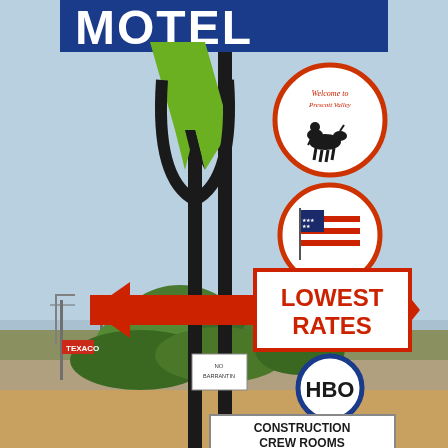[Figure (photo): Outdoor motel sign for a property in Prescott Valley, Arizona. At the top is a large blue rectangular sign with partial white letters visible (motel name, partially cropped). Below that is a green stylized arrow/wing logo element with two black vertical poles. To the right are two circular signs stacked: the top one reads 'Welcome to Prescott Valley' with a cowboy on horseback silhouette, the lower one shows an American flag. A large red horizontal arrow sign pointing left reads 'LOWEST RATES' in red text. A small white card sign reads 'NO BARRANTIN'. A round blue-bordered white circle sign reads 'HBO' in bold black. At the bottom is a rectangular sign reading 'CONSTRUCTION CREW ROOMS 2 QUEENS' in black and red text. Background shows a road, Texaco sign, trees, utility poles, and suburban landscape under blue sky.]